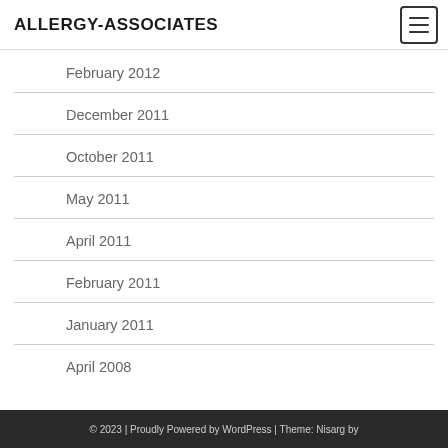ALLERGY-ASSOCIATES
February 2012
December 2011
October 2011
May 2011
April 2011
February 2011
January 2011
April 2008
© 2023 | Proudly Powered by WordPress | Theme: Nisarg by